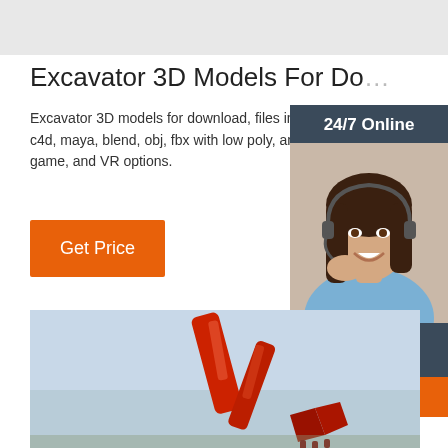[Figure (other): Top gray banner/header area]
Excavator 3D Models For Do...
Excavator 3D models for download, files in 3d c4d, maya, blend, obj, fbx with low poly, anima game, and VR options.
[Figure (other): Orange Get Price button]
[Figure (other): 24/7 Online chat widget with woman wearing headset, dark blue background, orange QUOTATION button]
[Figure (photo): Red excavator arm/boom against blue sky background]